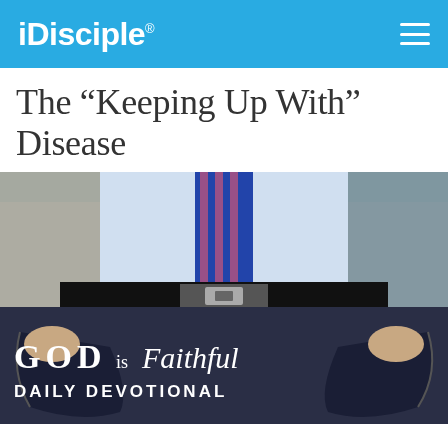iDisciple®
The “Keeping Up With” Disease
[Figure (photo): Man in blue shirt and blue striped tie pulling out empty trouser pockets, showing he has no money. Overlaid text reads: GOD is Faithful DAILY DEVOTIONAL]
GOD is Faithful DAILY DEVOTIONAL